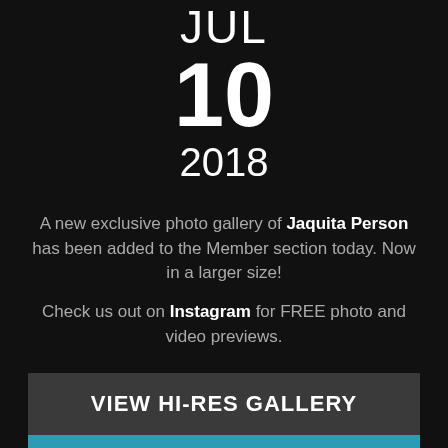JUL
10
2018
A new exclusive photo gallery of Jaquita Person has been added to the Member section today. Now in a larger size!
Check us out on Instagram for FREE photo and video previews.
VIEW HI-RES GALLERY
JOIN NOW